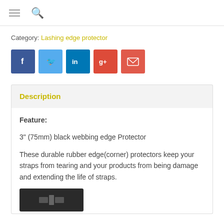≡ 🔍
Category: Lashing edge protector
[Figure (infographic): Social sharing buttons: Facebook (blue), Twitter (light blue), LinkedIn (dark blue), Google+ (red-orange), Email (red)]
Description
Feature:
3" (75mm) black webbing edge Protector
These durable rubber edge(corner) protectors keep your straps from tearing and your products from being damage and extending the life of straps.
[Figure (photo): Black product image placeholder at bottom of page]